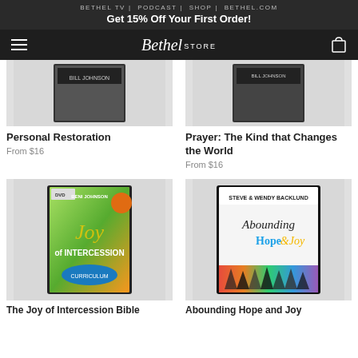BETHEL TV   PODCAST   SHOP   BETHEL.COM
Get 15% Off Your First Order!
[Figure (logo): Bethel Store logo with hamburger menu and cart icon on dark navigation bar]
[Figure (photo): Personal Restoration product image - book/DVD with Bill Johnson text visible]
Personal Restoration
From $16
[Figure (photo): Prayer: The Kind that Changes the World product image - book/DVD]
Prayer: The Kind that Changes the World
From $16
[Figure (photo): The Joy of Intercession Bible Curriculum DVD - Beni Johnson, colorful cover with woman looking up]
The Joy of Intercession Bible
[Figure (photo): Abounding Hope and Joy DVD - Steve & Wendy Backlund, white cover with colorful silhouettes]
Abounding Hope and Joy